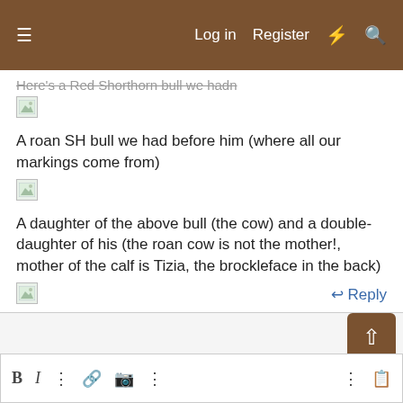Log in  Register
Here's a Red Shorthorn bull we hadn
[Figure (photo): Broken image placeholder]
A roan SH bull we had before him (where all our markings come from)
[Figure (photo): Broken image placeholder]
A daughter of the above bull (the cow) and a double-daughter of his (the roan cow is not the mother!, mother of the calf is Tizia, the brockleface in the back)
[Figure (photo): Broken image placeholder]